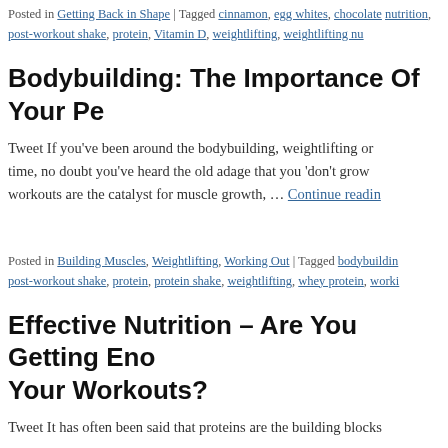Posted in Getting Back in Shape | Tagged cinnamon, egg whites, chocolate nutrition, post-workout shake, protein, Vitamin D, weightlifting, weightlifting nu…
Bodybuilding: The Importance Of Your Pe…
Tweet If you've been around the bodybuilding, weightlifting or… time, no doubt you've heard the old adage that you 'don't grow… workouts are the catalyst for muscle growth, … Continue reading
Posted in Building Muscles, Weightlifting, Working Out | Tagged bodybuilding… post-workout shake, protein, protein shake, weightlifting, whey protein, worki…
Effective Nutrition – Are You Getting Eno… Your Workouts?
Tweet It has often been said that proteins are the building blocks…